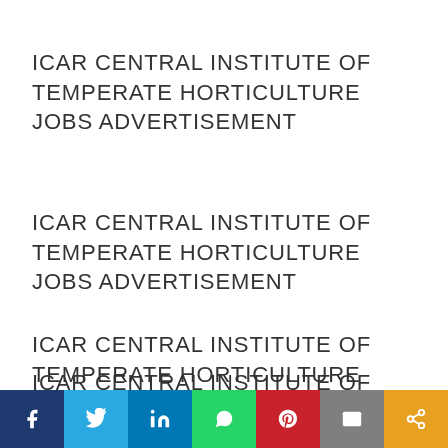ICAR CENTRAL INSTITUTE OF TEMPERATE HORTICULTURE JOBS ADVERTISEMENT
ICAR CENTRAL INSTITUTE OF TEMPERATE HORTICULTURE JOBS ADVERTISEMENT
ICAR CENTRAL INSTITUTE OF TEMPERATE HORTICULTURE JOBS ADVERTISEMENT
ICAR CENTRAL INSTITUTE OF TEMPERATE HORTICULTURE JOBS ADVERTISEMENT
[Figure (infographic): Social sharing bar with icons: Facebook (dark blue), Twitter (light blue), LinkedIn (blue), WhatsApp (green), Pinterest (red), Email (grey), Share (orange)]